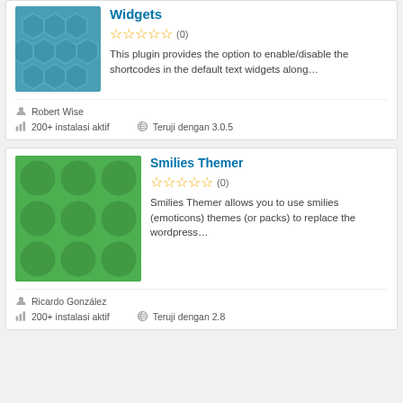[Figure (screenshot): Partial plugin card for Widgets plugin with teal hexagon thumbnail, 0-star rating, description text, author Robert Wise, 200+ instalasi aktif, Teruji dengan 3.0.5]
Smilies Themer
[Figure (illustration): Green circular pattern plugin thumbnail for Smilies Themer]
Smilies Themer allows you to use smilies (emoticons) themes (or packs) to replace the wordpress...
Ricardo González
200+ instalasi aktif
Teruji dengan 2.8